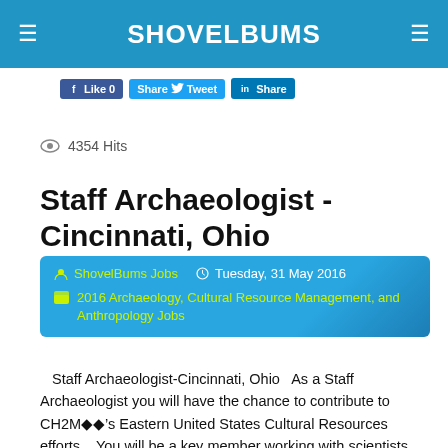SHOVELBUMS
[Figure (other): Social share buttons: Like 0 (Facebook), Share / Tweet (Twitter), Share (LinkedIn)]
4354 Hits
Staff Archaeologist - Cincinnati, Ohio
ShovelBums Jobs   Tuesday, 31 May 2016   2016 Archaeology, Cultural Resource Management, and Anthropology Jobs
Staff Archaeologist-Cincinnati, Ohio   As a Staff Archaeologist you will have the chance to contribute to CH2M◆◆’s Eastern United States Cultural Resources efforts.   You will be a key member working with scientists, engineers, and project managers across multiple business units you will be responsible for working on all aspects of cultural projects. During your time with us you will also have the opportunity to do background research and fieldwork, and working with State Historic Preservation Offices (SHPO), other ◆◆…